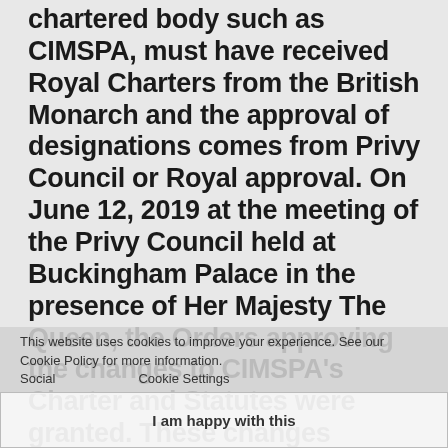chartered body such as CIMSPA, must have received Royal Charters from the British Monarch and the approval of designations comes from Privy Council or Royal approval. On June 12, 2019 at the meeting of the Privy Council held at Buckingham Palace in the presence of Her Majesty The Queen, the Orders approving the changes to CIMSPA's Charter and Statutes were granted. These changes included expanding designation to not only members with experience in leisure operations and sports development, but to all professionals in the sector including those who participate in roles such as coaches, personal trainers, managers, health and wellbeing professionals and many others.
This website uses cookies to improve your experience. See our Cookie Policy for more information.
I am happy with this